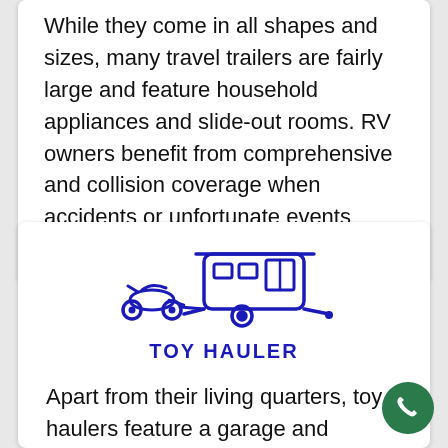While they come in all shapes and sizes, many travel trailers are fairly large and feature household appliances and slide-out rooms. RV owners benefit from comprehensive and collision coverage when accidents or unfortunate events occur on the road or when parked.
[Figure (illustration): Dark blue icon of a toy hauler: an ATV/motorcycle in front pulling a travel trailer with windows and wheels]
TOY HAULER
Apart from their living quarters, toy haulers feature a garage and loading ramp that allows for the safe storage of expensive things like ATVs, dirt bikes, canoes, kayaks, and more. Some of the